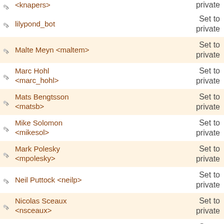| Name | Email / Setting |
| --- | --- |
| <knapers> | private |
| lilypond_bot | Set to private |
| Malte Meyn <maltem> | Set to private |
| Marc Hohl <marc_hohl> | Set to private |
| Mats Bengtsson <matsb> | Set to private |
| Mike Solomon <mikesol> | Set to private |
| Mark Polesky <mpolesky> | Set to private |
| Neil Puttock <neilp> | Set to private |
| Nicolas Sceaux <nsceaux> | Set to private |
| Francisco Vila <pacovila> | Set to private |
| Paul Morris <paulwmorris> | Set to private |
| Phil Holmes <philholmes> | Set to private |